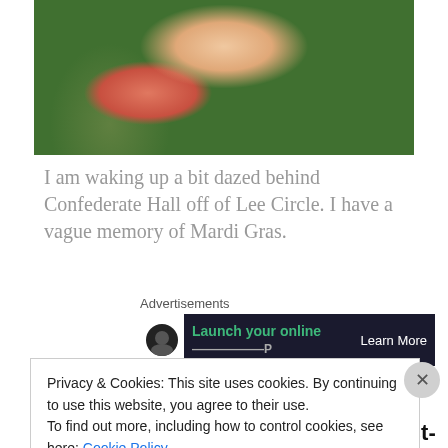[Figure (photo): Partial photo of a woman with curly blonde hair wearing a pink top, outdoors with green foliage in background]
I am waking up a bit dazed behind Confederate Hall off of Lee Circle. I have a vague memory of Mardi Gras.
Advertisements
[Figure (other): Advertisement banner: dark background with an icon, green text 'Launch your online' and white 'Learn More' button]
What happened to Mardi Gras, you ask? Like a good Southern Belle post-bender, I secretly remember
Privacy & Cookies: This site uses cookies. By continuing to use this website, you agree to their use.
To find out more, including how to control cookies, see here: Cookie Policy
Close and accept